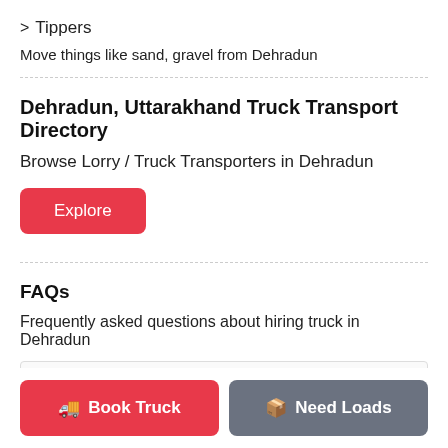> Tippers
Move things like sand, gravel from Dehradun
Dehradun, Uttarakhand Truck Transport Directory
Browse Lorry / Truck Transporters in Dehradun
Explore
FAQs
Frequently asked questions about hiring truck in Dehradun
Book Truck   Need Loads